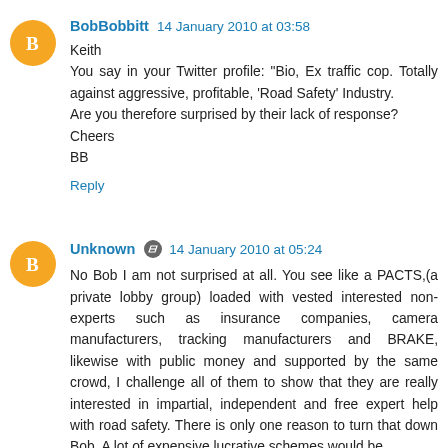BobBobbitt  14 January 2010 at 03:58
Keith
You say in your Twitter profile: "Bio, Ex traffic cop. Totally against aggressive, profitable, 'Road Safety' Industry.
Are you therefore surprised by their lack of response?
Cheers
BB
Reply
Unknown  14 January 2010 at 05:24
No Bob I am not surprised at all. You see like a PACTS,(a private lobby group) loaded with vested interested non-experts such as insurance companies, camera manufacturers, tracking manufacturers and BRAKE, likewise with public money and supported by the same crowd, I challenge all of them to show that they are really interested in impartial, independent and free expert help with road safety. There is only one reason to turn that down Bob. A lot of expensive lucrative schemes would be